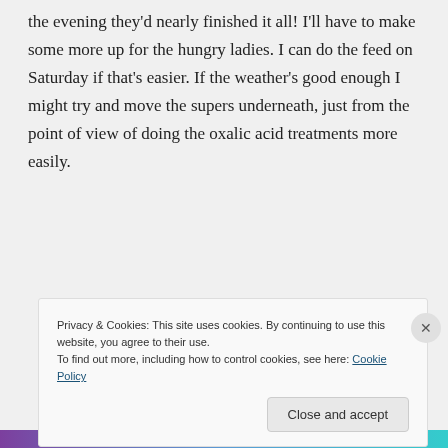the evening they'd nearly finished it all! I'll have to make some more up for the hungry ladies. I can do the feed on Saturday if that's easier. If the weather's good enough I might try and move the supers underneath, just from the point of view of doing the oxalic acid treatments more easily.
Privacy & Cookies: This site uses cookies. By continuing to use this website, you agree to their use. To find out more, including how to control cookies, see here: Cookie Policy
Close and accept